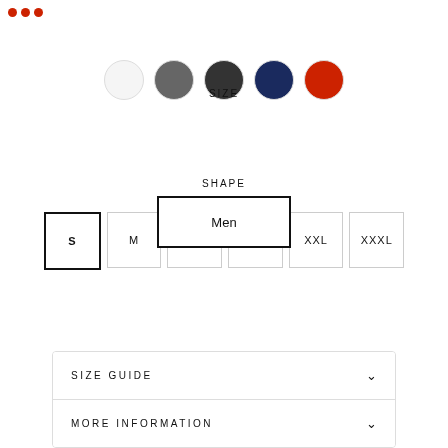[Figure (screenshot): E-commerce product page partial showing color swatches, size selector, shape selector, add to cart button, and accordion sections.]
SIZE
S  M  L  XL  XXL  XXXL
SHAPE
Men
ADD TO CART
SIZE GUIDE
MORE INFORMATION